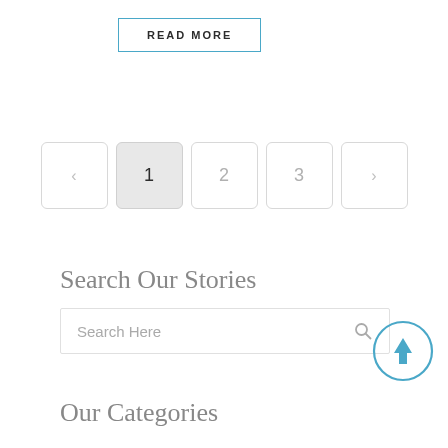READ MORE
[Figure (other): Pagination controls showing previous arrow, page 1 (active/highlighted), pages 2, 3, and next arrow]
Search Our Stories
Search Here
Our Categories